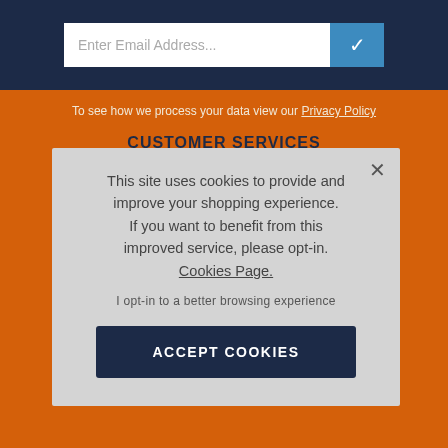[Figure (screenshot): Email address input field with white background and blue check button on dark navy header bar]
To see how we process your data view our Privacy Policy
CUSTOMER SERVICES
Delivery Information
Returns Information
This site uses cookies to provide and improve your shopping experience. If you want to benefit from this improved service, please opt-in. Cookies Page.
I opt-in to a better browsing experience
ACCEPT COOKIES